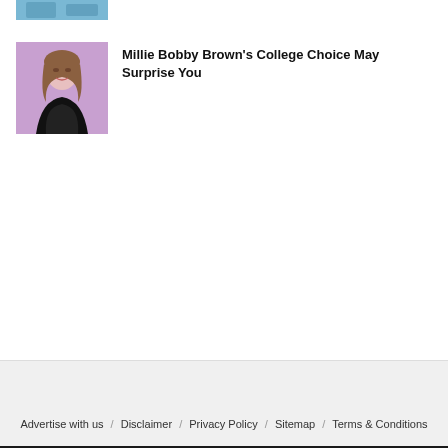[Figure (photo): Partial thumbnail image at top, cropped — appears to show a person at a desk/books, blue-toned background.]
[Figure (photo): Photo of Millie Bobby Brown in a black dress against a purple/lavender background.]
Millie Bobby Brown's College Choice May Surprise You
Advertise with us / Disclaimer / Privacy Policy / Sitemap / Terms & Conditions
This website uses cookies to improve your experience. We'll assume you're ok with this, but you can opt-out if you wish.
Cookie settings   ACCEPT